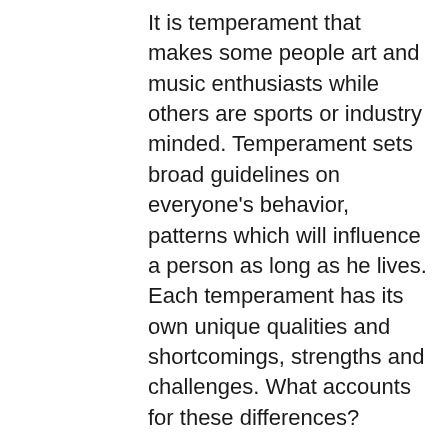It is temperament that makes some people art and music enthusiasts while others are sports or industry minded. Temperament sets broad guidelines on everyone's behavior, patterns which will influence a person as long as he lives. Each temperament has its own unique qualities and shortcomings, strengths and challenges. What accounts for these differences?
To use the idea of temperament most effectively, it is important to understand that the temperaments are not simply arbitrary collections of characteristics, but spring from an interaction of the two basic dimensions of human behavior: our